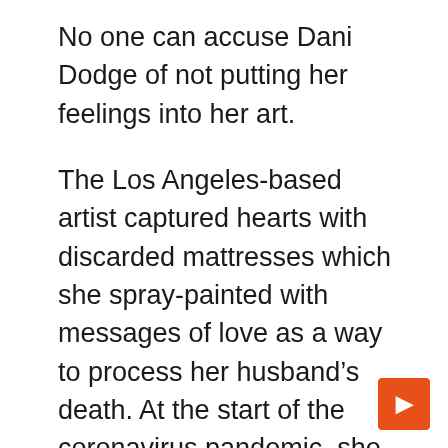No one can accuse Dani Dodge of not putting her feelings into her art.
The Los Angeles-based artist captured hearts with discarded mattresses which she spray-painted with messages of love as a way to process her husband’s death. At the start of the coronavirus pandemic, she floated paper boats hanging from trees on her neighborhood boardwalk, delighting children who watched them sway in the breeze.
“I’m much more of an artist who feels what’s going on and tries to translate it. It becomes my art,” Dodge said Wednesday, March 30.
In her latest exhibition, “Embracing the